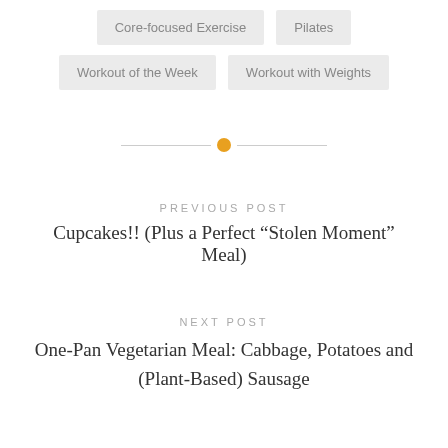Core-focused Exercise
Pilates
Workout of the Week
Workout with Weights
PREVIOUS POST
Cupcakes!! (Plus a Perfect “Stolen Moment” Meal)
NEXT POST
One-Pan Vegetarian Meal: Cabbage, Potatoes and (Plant-Based) Sausage